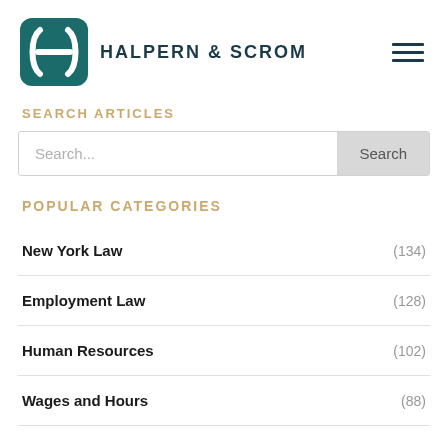[Figure (logo): Halpern & Scrom law firm logo with stylized H-S mark in teal/dark green and company name in dark navy]
SEARCH ARTICLES
Search...
POPULAR CATEGORIES
New York Law (134)
Employment Law (128)
Human Resources (102)
Wages and Hours (88)